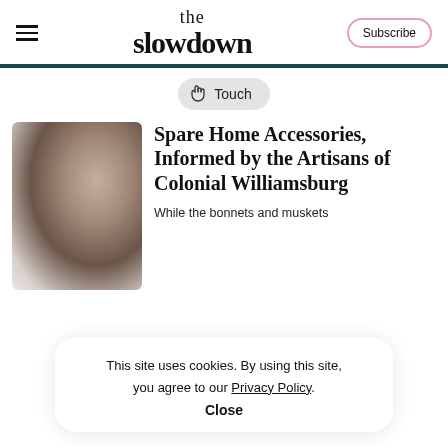the slowdown
Touch
[Figure (photo): Blurred gradient image with warm brown and beige tones, likely a home accessory product photo]
Spare Home Accessories, Informed by the Artisans of Colonial Williamsburg
While the bonnets and muskets
This site uses cookies. By using this site, you agree to our Privacy Policy.
Close